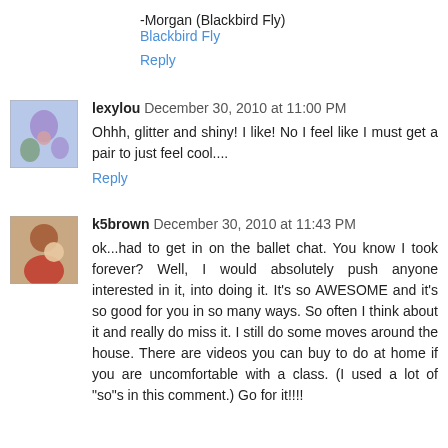-Morgan (Blackbird Fly)
Blackbird Fly
Reply
lexylou  December 30, 2010 at 11:00 PM
Ohhh, glitter and shiny! I like! No I feel like I must get a pair to just feel cool....
Reply
k5brown  December 30, 2010 at 11:43 PM
ok...had to get in on the ballet chat. You know I took forever? Well, I would absolutely push anyone interested in it, into doing it. It's so AWESOME and it's so good for you in so many ways. So often I think about it and really do miss it. I still do some moves around the house. There are videos you can buy to do at home if you are uncomfortable with a class. (I used a lot of "so"s in this comment.) Go for it!!!!